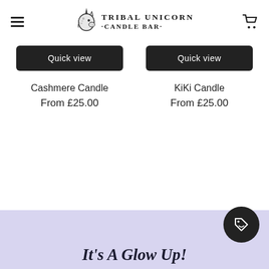TRIBAL UNICORN CANDLE BAR
Quick view
Quick view
Cashmere Candle
From £25.00
KiKi Candle
From £25.00
It's A Glow Up!